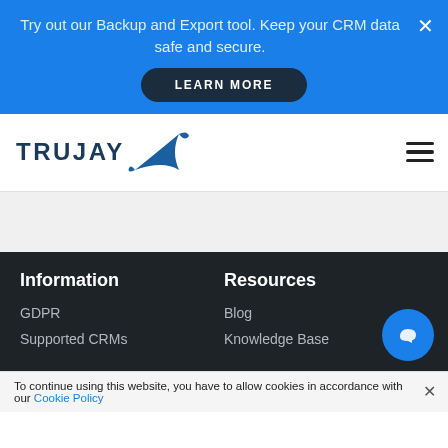Try out our Backup and Export tool. Keep your CRM data safe and secure.
LEARN MORE
[Figure (logo): Trujay logo with stylized blue bird/fish tail icon and text TRUJAY]
Information
Resources
GDPR
Blog
Supported CRMs
Knowledge Base
To continue using this website, you have to allow cookies in accordance with our Cookie Policy